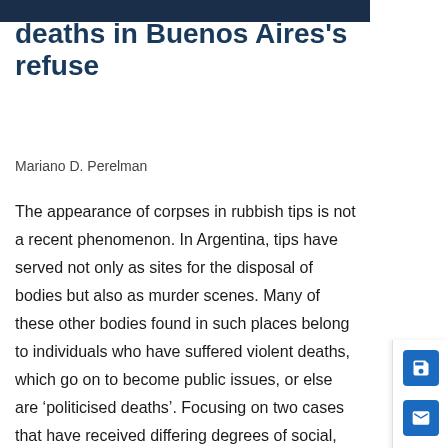deaths in Buenos Aires's refuse
Mariano D. Perelman
The appearance of corpses in rubbish tips is not a recent phenomenon. In Argentina, tips have served not only as sites for the disposal of bodies but also as murder scenes. Many of these other bodies found in such places belong to individuals who have suffered violent deaths, which go on to become public issues, or else are ‘politicised deaths’. Focusing on two cases that have received differing degrees of social, political